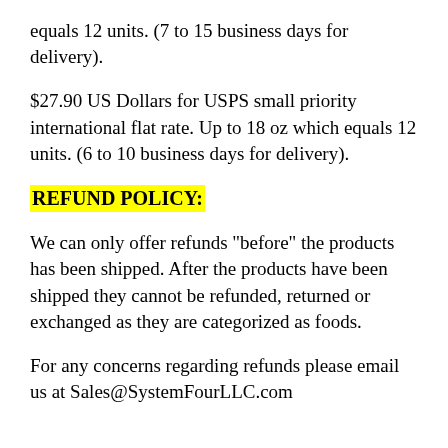equals 12 units.  (7 to 15 business days for delivery).
$27.90 US Dollars for USPS small priority international flat rate.  Up to 18 oz which equals 12 units.  (6 to 10 business days for delivery).
REFUND POLICY:
We can only offer refunds "before" the products has been shipped.  After the products have been shipped they cannot be refunded, returned or exchanged as they are categorized as foods.
For any concerns regarding refunds please email us at Sales@SystemFourLLC.com